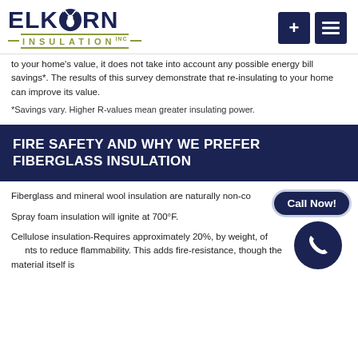[Figure (logo): Elkhorn Insulation Inc logo with deer icon, plus and menu navigation buttons]
to your home's value, it does not take into account any possible energy bill savings*. The results of this survey demonstrate that re-insulating to your home can improve its value.
*Savings vary. Higher R-values mean greater insulating power.
FIRE SAFETY AND WHY WE PREFER FIBERGLASS INSULATION
Fiberglass and mineral wool insulation are naturally non-co...
Spray foam insulation will ignite at 700°F.
Cellulose insulation-Requires approximately 20%, by weight, of ... nts to reduce flammability. This adds fire-resistance, though the material itself is ...